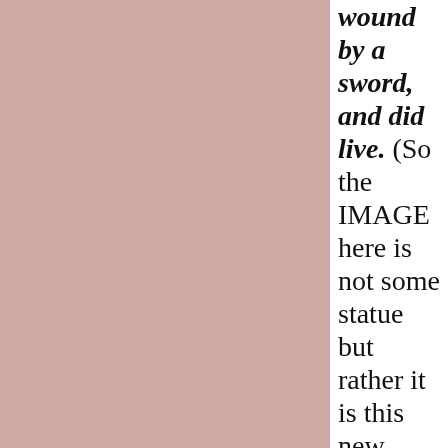[Figure (illustration): Large pinkish-mauve rectangular color block occupying the left two-thirds of the page.]
wound by a sword, and did live. (So the IMAGE here is not some statue but rather it is this new leader saying to the Muslim